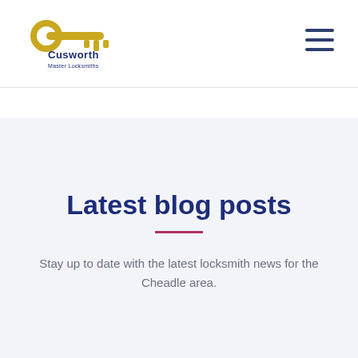[Figure (logo): Cusworth Master Locksmiths logo — yellow key icon with stylized teeth, text 'Cusworth' in dark navy below, 'Master Locksmiths' in smaller text beneath]
[Figure (other): Hamburger menu icon — three horizontal navy lines stacked]
Latest blog posts
Stay up to date with the latest locksmith news for the Cheadle area.